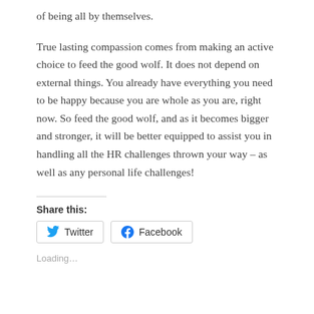of being all by themselves.
True lasting compassion comes from making an active choice to feed the good wolf. It does not depend on external things. You already have everything you need to be happy because you are whole as you are, right now. So feed the good wolf, and as it becomes bigger and stronger, it will be better equipped to assist you in handling all the HR challenges thrown your way – as well as any personal life challenges!
Share this:
Loading…